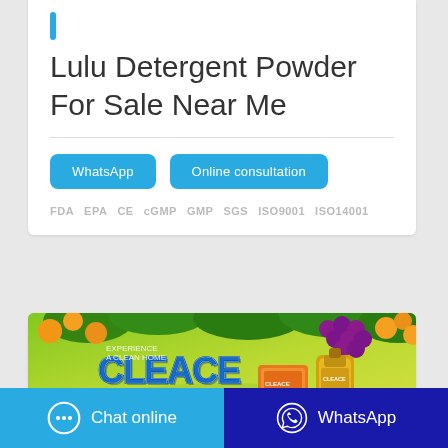Lulu Detergent Powder For Sale Near Me
WhatsApp   Online consultation
FDA  EPA  CE  cGMP  GMP  SGS  ISO9001  ISO14001
[Figure (photo): Cleace brand detergent product advertisement banner with fruit/nature background (oranges, grapes, leaves) on a yellow-green gradient, showing Cleace logo in blue 3D letters and orange/gold product packaging]
Chat online   WhatsApp